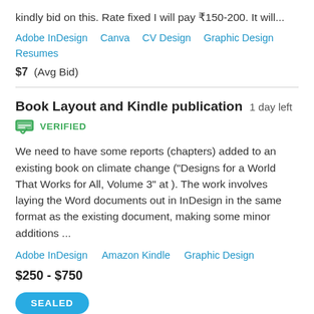kindly bid on this. Rate fixed I will pay ₹150-200. It will...
Adobe InDesign   Canva   CV Design   Graphic Design   Resumes
$7  (Avg Bid)
Book Layout and Kindle publication   1 day left
VERIFIED
We need to have some reports (chapters) added to an existing book on climate change ("Designs for a World That Works for All, Volume 3" at ). The work involves laying the Word documents out in InDesign in the same format as the existing document, making some minor additions ...
Adobe InDesign   Amazon Kindle   Graphic Design
$250 - $750
SEALED